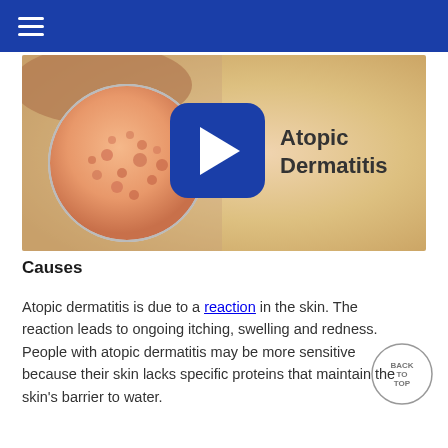≡ (navigation menu)
[Figure (screenshot): Video thumbnail showing atopic dermatitis. Left side shows a magnified view of irritated skin with bumps/redness. Center has a blue play button icon. Right side shows text 'Atopic Dermatitis' on a light background.]
Causes
Atopic dermatitis is due to a reaction in the skin. The reaction leads to ongoing itching, swelling and redness. People with atopic dermatitis may be more sensitive because their skin lacks specific proteins that maintain the skin's barrier to water.